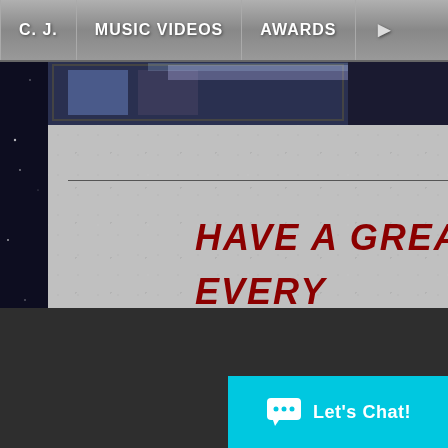C. J. | MUSIC VIDEOS | AWARDS
[Figure (screenshot): Photo strip showing partial images of a person, partially cropped at top]
HAVE A GREA... EVERY...
Let's Chat!